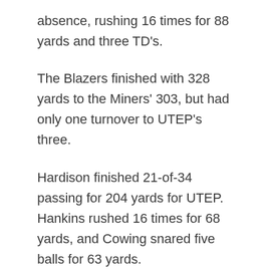absence, rushing 16 times for 88 yards and three TD's.
The Blazers finished with 328 yards to the Miners' 303, but had only one turnover to UTEP's three.
Hardison finished 21-of-34 passing for 204 yards for UTEP.  Hankins rushed 16 times for 68 yards, and Cowing snared five balls for 63 yards.
UTEP will await word on its bowl destination as it seeks eight victories for just the 11th time in school history.